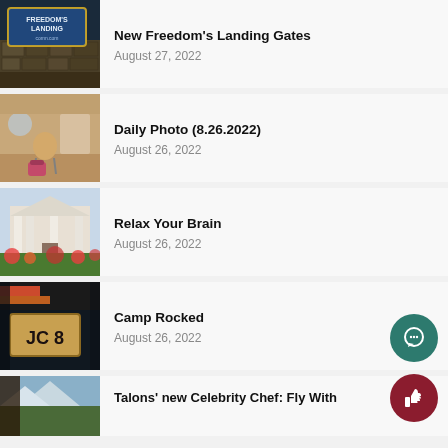[Figure (photo): Freedom's Landing sign illuminated at night, stone wall with blue LED sign]
New Freedom's Landing Gates
August 27, 2022
[Figure (photo): Person sitting in a chair in an indoor setting, possibly a waiting area]
Daily Photo (8.26.2022)
August 26, 2022
[Figure (photo): White building with columns, classical architecture, garden plants in foreground]
Relax Your Brain
August 26, 2022
[Figure (photo): Camp sign with JC 8, colorful painted wooden sign at night]
Camp Rocked
August 26, 2022
[Figure (photo): Partial view of a building with mountains or trees in background]
Talons' new Celebrity Chef: Fly With